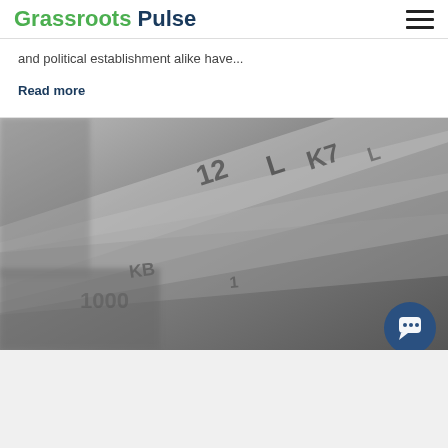Grassroots Pulse
and political establishment alike have...
Read more
[Figure (photo): Close-up black and white photo of US dollar bills fanned out, showing numbers and markings on the currency.]
[Figure (screenshot): Chat popup widget with a small stock-chart icon, an X close button, and the text 'Got any questions? I'm happy to help.' A circular dark blue chat bubble button appears at bottom right.]